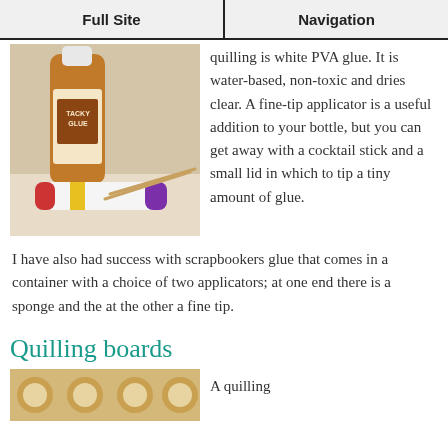Full Site | Navigation
[Figure (photo): Photo of glue bottles including Tacky Glue and a purple-capped glue stick with cocktail sticks on a light background]
quilling is white PVA glue. It is water-based, non-toxic and dries clear. A fine-tip applicator is a useful addition to your bottle, but you can get away with a cocktail stick and a small lid in which to tip a tiny amount of glue.
I have also had success with scrapbookers glue that comes in a container with a choice of two applicators; at one end there is a sponge and the at the other a fine tip.
Quilling boards
[Figure (photo): Partial photo of a quilling board showing circular holes]
A quilling